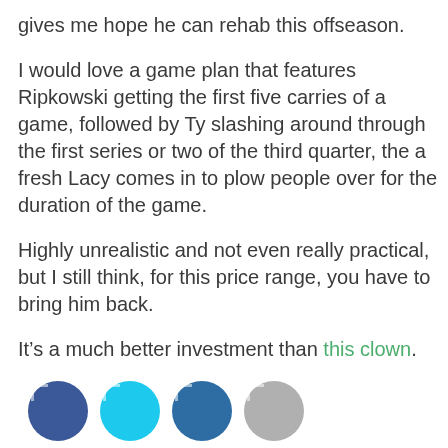gives me hope he can rehab this offseason.
I would love a game plan that features Ripkowski getting the first five carries of a game, followed by Ty slashing around through the first series or two of the third quarter, the a fresh Lacy comes in to plow people over for the duration of the game.
Highly unrealistic and not even really practical, but I still think, for this price range, you have to bring him back.
It’s a much better investment than this clown.
[Figure (other): Four social sharing icon circles: Facebook (dark blue), Twitter (cyan), LinkedIn (medium blue), and a grey/other circle]
POSTED IN: COMMENTARY FILED UNDER: